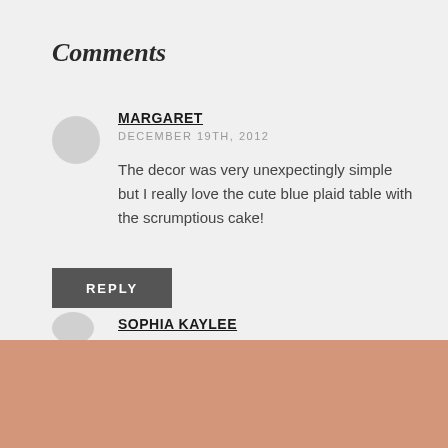Comments
MARGARET
DECEMBER 19TH, 2012

The decor was very unexpectingly simple but I really love the cute blue plaid table with the scrumptious cake!
REPLY
SOPHIA KAYLEE
HAVE YOU TRIED OUR FABULOUS WEDDING DIRECTORY?